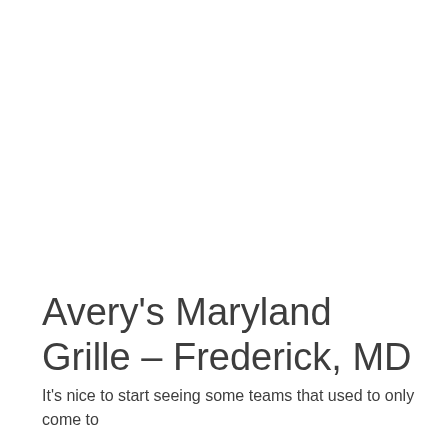Avery's Maryland Grille – Frederick, MD
It's nice to start seeing some teams that used to only come to